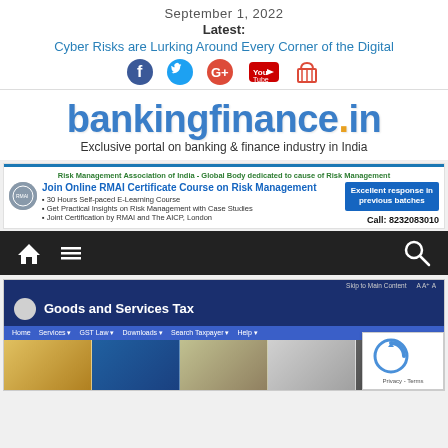September 1, 2022
Latest:
Cyber Risks are Lurking Around Every Corner of the Digital
[Figure (infographic): Social media icons: Facebook, Twitter, Google+, YouTube, shopping cart/basket icon]
[Figure (logo): bankingfinance.in logo - blue bold text with orange dot, subtitle: Exclusive portal on banking & finance industry in India]
[Figure (infographic): RMAI advertisement banner: Join Online RMAI Certificate Course on Risk Management. 30 Hours Self-paced E-Learning Course. Get Practical Insights on Risk Management with Case Studies. Joint Certification by RMAI and The AICP, London. Excellent response in previous batches. Call: 8232083010]
[Figure (screenshot): Navigation bar with dark background showing home icon, menu icon, and search icon]
[Figure (screenshot): Screenshot of Goods and Services Tax (GST) portal website showing header, navigation menu with Home, Services, GST Law, Downloads, Search Taxpayer, Help options, and hexagonal image grid. reCAPTCHA box visible in bottom right.]